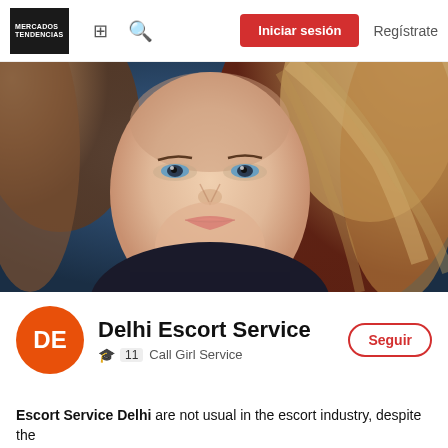MERCADOS TENDENCIAS  [grid icon]  [search icon]  Iniciar sesión  Regístrate
[Figure (photo): Close-up portrait of a woman with blue eyes, red lips, and flowing brown hair against a dark blue background.]
DE  Delhi Escort Service  Seguir  🎓 11  Call Girl Service
Escort Service Delhi are not usual in the escort industry, despite the